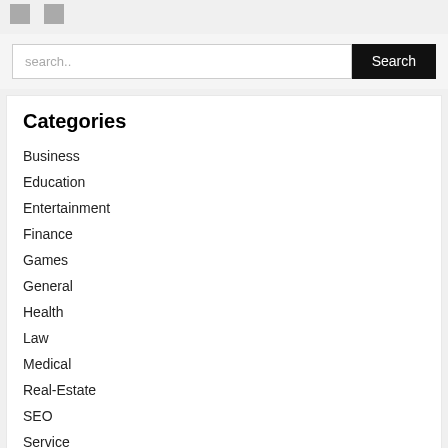[icons]
search..
Categories
Business
Education
Entertainment
Finance
Games
General
Health
Law
Medical
Real-Estate
SEO
Service